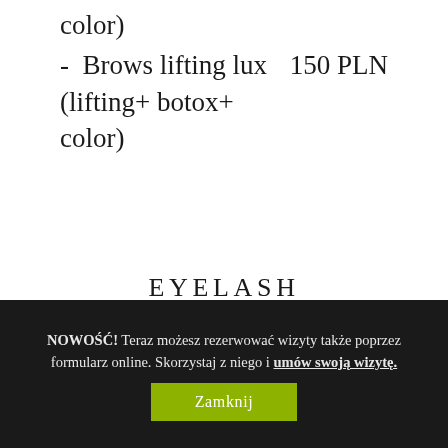color)
-  Brows lifting lux (lifting+ botox+ color)   150 PLN
EYELASH EXTENSIONS / DENSIFICATION
NOWOŚĆ! Teraz możesz rezerwować wizyty także poprzez formularz online. Skorzystaj z niego i umów swoją wizytę.
Zamknij